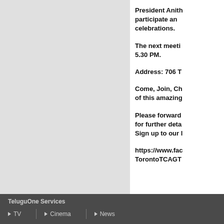President Anith... participate and... celebrations.
The next meeti... 5.30 PM.
Address: 706 T...
Come, Join, Ch... of this amazing...
Please forward... for further deta... Sign up to our l...
https://www.fac... TorontoTCAGT...
TeluguOne Services   TV   Cinema   News
TV
Cinema
News